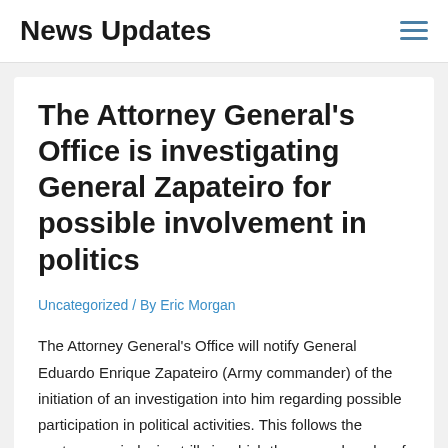News Updates
The Attorney General's Office is investigating General Zapateiro for possible involvement in politics
Uncategorized / By Eric Morgan
The Attorney General's Office will notify General Eduardo Enrique Zapateiro (Army commander) of the initiation of an investigation into him regarding possible participation in political activities. This follows the controversy-inducing trills in which the general spoke of Gustavo Petro as a presidential candidate.